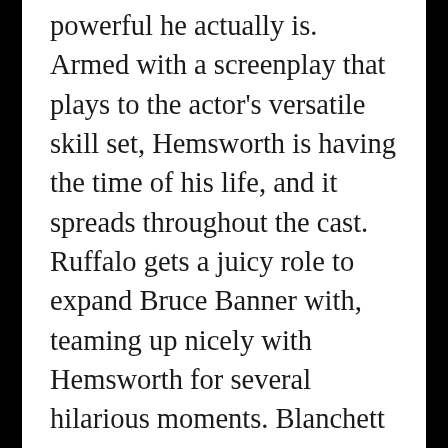powerful he actually is. Armed with a screenplay that plays to the actor's versatile skill set, Hemsworth is having the time of his life, and it spreads throughout the cast. Ruffalo gets a juicy role to expand Bruce Banner with, teaming up nicely with Hemsworth for several hilarious moments. Blanchett creates the best villain since Hiddleston's Loki, creating a new kind of malevolence that chews just enough scenery while providing some depth as well.